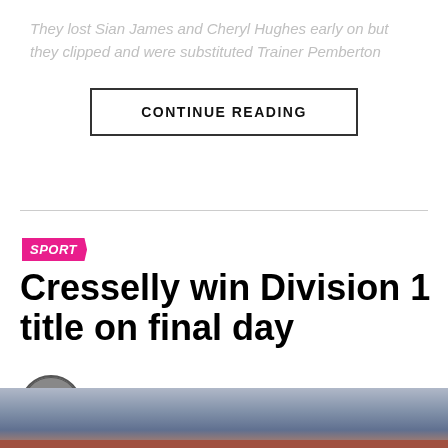They lost Sian James and Cheryl Hughes early on but they clipped and were substituted Trainer Pemberton
CONTINUE READING
SPORT
Cresselly win Division 1 title on final day
Published 8 hours ago on August 21, 2022
By James Hemingray
[Figure (photo): Bottom portion of stadium or sports facility with tiered seating visible]